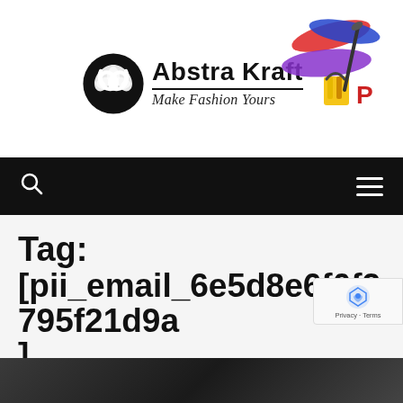[Figure (logo): Abstra Kraft logo with swirl icon and colorful paint splash. Text reads 'Abstra Kraft' with tagline 'Make Fashion Yours']
[Figure (other): Black navigation bar with search icon (magnifying glass) on the left and hamburger menu icon on the right]
Tag:
[pii_email_6e5d8e6f0f2795f21d9a]